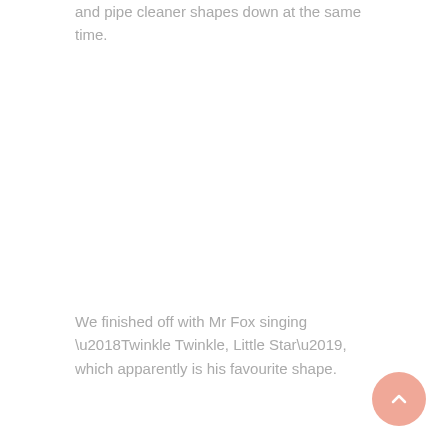and pipe cleaner shapes down at the same time.
We finished off with Mr Fox singing ‘Twinkle Twinkle, Little Star’, which apparently is his favourite shape.